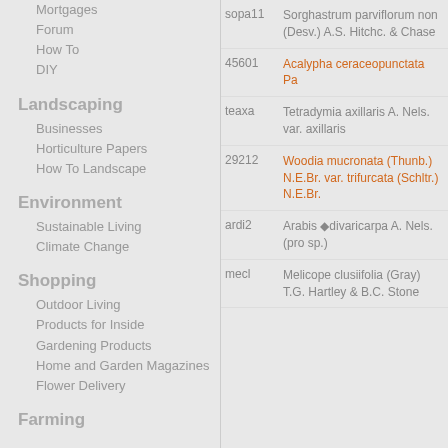Mortgages
Forum
How To
DIY
Landscaping
Businesses
Horticulture Papers
How To Landscape
Environment
Sustainable Living
Climate Change
Shopping
Outdoor Living
Products for Inside
Gardening Products
Home and Garden Magazines
Flower Delivery
Farming
| code | name |
| --- | --- |
| sopa11 | Sorghastrum parviflorum non (Desv.) A.S. Hitchc. & Chase |
| 45601 | Acalypha ceraceopunctata Pa... |
| teaxa | Tetradymia axillaris A. Nels. var. axillaris |
| 29212 | Woodia mucronata (Thunb.) N.E.Br. var. trifurcata (Schltr.) N.E.Br. |
| ardi2 | Arabis ◆divaricarpa A. Nels. (pro sp.) |
| mecl | Melicope clusiifolia (Gray) T.G. Hartley & B.C. Stone |